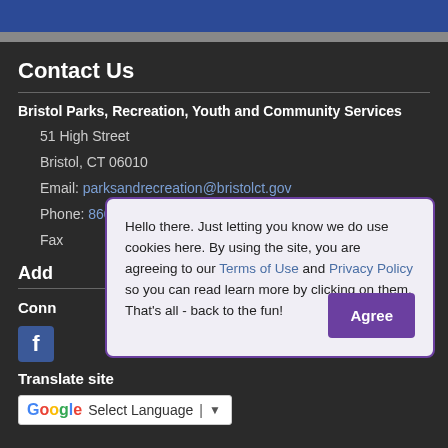Contact Us
Bristol Parks, Recreation, Youth and Community Services
51 High Street
Bristol, CT 06010
Email: parksandrecreation@bristolct.gov
Phone: 860-584-6160
Fax:
Add
Conn
[Figure (logo): Facebook icon square logo]
Translate site
[Figure (other): Google Translate language selector widget with 'Select Language' dropdown]
Hello there. Just letting you know we do use cookies here. By using the site, you are agreeing to our Terms of Use and Privacy Policy so you can read learn more by clicking on them. That's all - back to the fun!